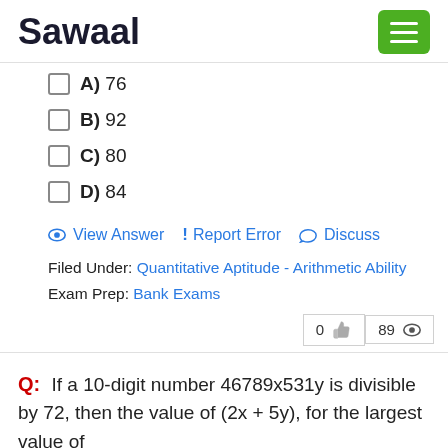Sawaal
A) 76
B) 92
C) 80
D) 84
View Answer  ! Report Error  Discuss
Filed Under: Quantitative Aptitude - Arithmetic Ability
Exam Prep: Bank Exams
0 👍  89 👁
Q: If a 10-digit number 46789x531y is divisible by 72, then the value of (2x + 5y), for the largest value of